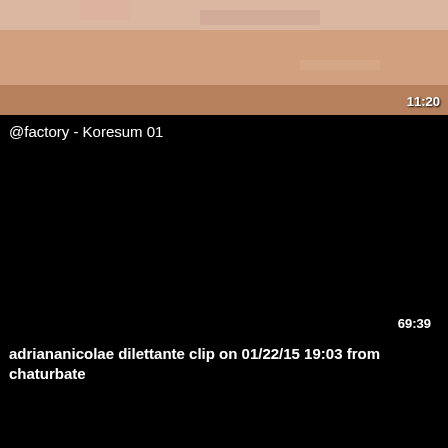[Figure (screenshot): Video thumbnail showing partial image with peach/skin tones, duration overlay 11:20 in bottom right]
@factory - Koresum 01
[Figure (screenshot): Solid black video thumbnail with duration overlay 69:39 in bottom right]
adriananicolae dilettante clip on 01/22/15 19:03 from chaturbate
[Figure (screenshot): Partial black video thumbnail at bottom of page]